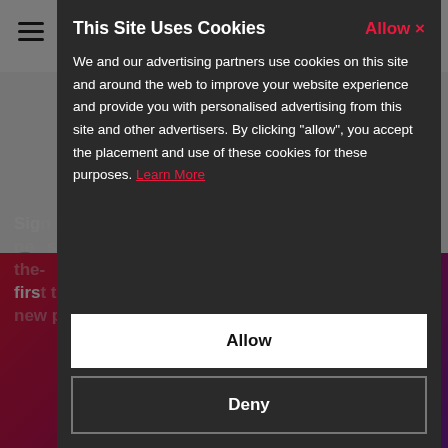[Figure (screenshot): Website background with hamburger menu, navigation bar, pink/red gradient banner at bottom with text 'Sign up to our newsletter and be the first to know about new products & promotions', and a left navigation arrow]
This Site Uses Cookies
We and our advertising partners use cookies on this site and around the web to improve your website experience and provide you with personalised advertising from this site and other advertisers. By clicking "allow", you accept the placement and use of these cookies for these purposes. Learn More
Allow
Deny